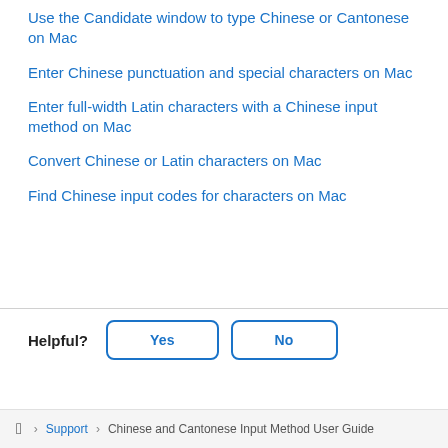Use the Candidate window to type Chinese or Cantonese on Mac
Enter Chinese punctuation and special characters on Mac
Enter full-width Latin characters with a Chinese input method on Mac
Convert Chinese or Latin characters on Mac
Find Chinese input codes for characters on Mac
Helpful? Yes No
Support › Chinese and Cantonese Input Method User Guide